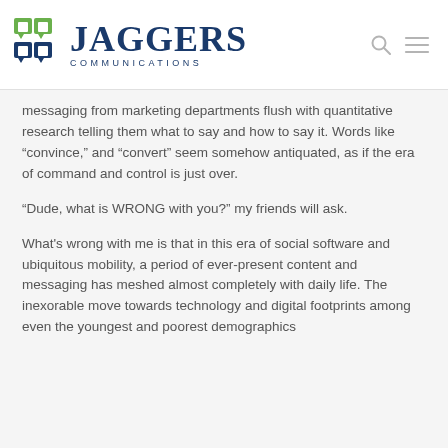JAGGERS COMMUNICATIONS
messaging from marketing departments flush with quantitative research telling them what to say and how to say it. Words like “convince,” and “convert” seem somehow antiquated, as if the era of command and control is just over.
“Dude, what is WRONG with you?” my friends will ask.
What's wrong with me is that in this era of social software and ubiquitous mobility, a period of ever-present content and messaging has meshed almost completely with daily life. The inexorable move towards technology and digital footprints among even the youngest and poorest demographics